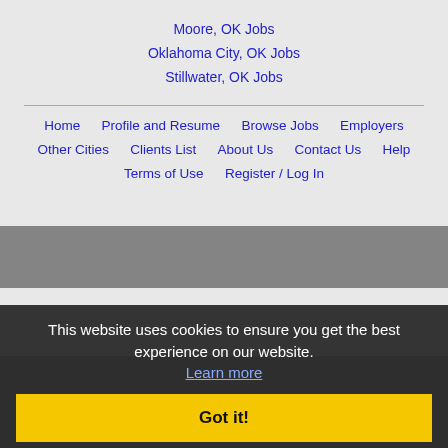Moore, OK Jobs
Oklahoma City, OK Jobs
Stillwater, OK Jobs
Home | Profile and Resume | Browse Jobs | Employers | Other Cities | Clients List | About Us | Contact Us | Help | Terms of Use | Register / Log In
Copyright © 2001 - 2022 Recruiter Media Corporation - Norman Jobs
This website uses cookies to ensure you get the best experience on our website. Learn more
Got it!